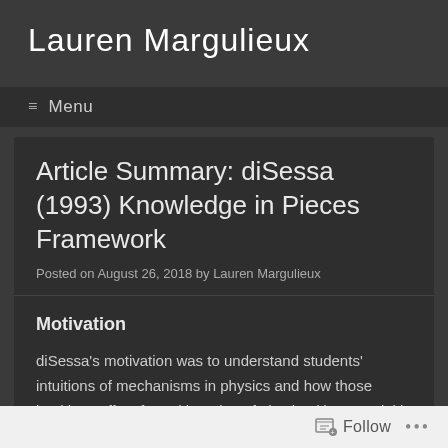Lauren Margulieux
≡ Menu
Article Summary: diSessa (1993) Knowledge in Pieces Framework
Posted on August 26, 2018 by Lauren Margulieux
Motivation
diSessa's motivation was to understand students' intuitions of mechanisms in physics and how those intuitions affect formal learning of physics (the actual title of this paper is "Toward an Epistemology of Physics"). The Knowledge in Pieces
Follow ...